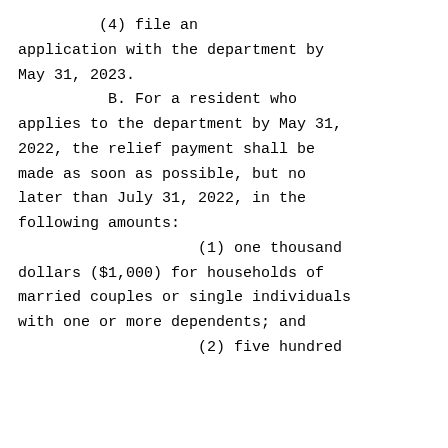(4) file an application with the department by May 31, 2023.
          B. For a resident who applies to the department by May 31, 2022, the relief payment shall be made as soon as possible, but no later than July 31, 2022, in the following amounts:
                    (1) one thousand dollars ($1,000) for households of married couples or single individuals with one or more dependents; and
                    (2) five hundred